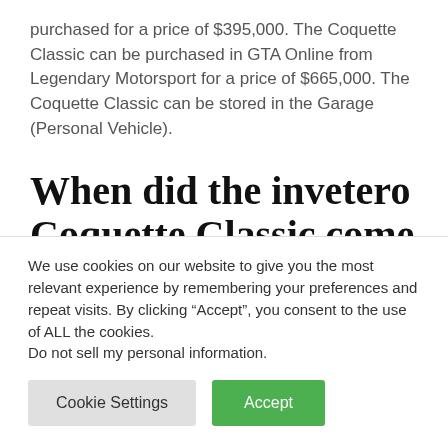purchased for a price of $395,000. The Coquette Classic can be purchased in GTA Online from Legendary Motorsport for a price of $665,000. The Coquette Classic can be stored in the Garage (Personal Vehicle).
When did the invetero Coquette Classic come out?
We use cookies on our website to give you the most relevant experience by remembering your preferences and repeat visits. By clicking “Accept”, you consent to the use of ALL the cookies. Do not sell my personal information.